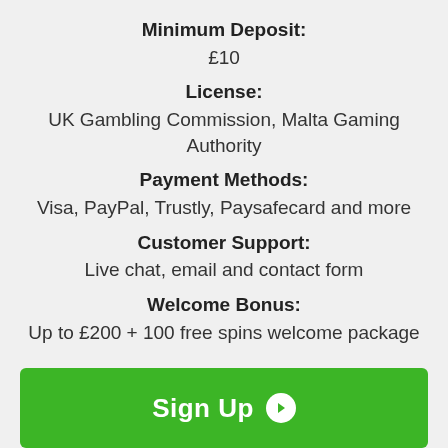Minimum Deposit:
£10
License:
UK Gambling Commission, Malta Gaming Authority
Payment Methods:
Visa, PayPal, Trustly, Paysafecard and more
Customer Support:
Live chat, email and contact form
Welcome Bonus:
Up to £200 + 100 free spins welcome package
Sign Up